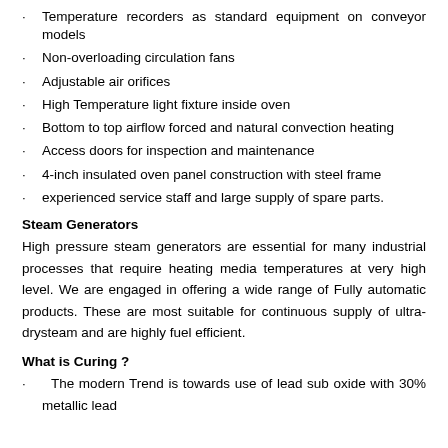Temperature recorders as standard equipment on conveyor models
Non-overloading circulation fans
Adjustable air orifices
High Temperature light fixture inside oven
Bottom to top airflow forced and natural convection heating
Access doors for inspection and maintenance
4-inch insulated oven panel construction with steel frame
experienced service staff and large supply of spare parts.
Steam Generators
High pressure steam generators are essential for many industrial processes that require heating media temperatures at very high level. We are engaged in offering a wide range of Fully automatic products. These are most suitable for continuous supply of ultra-drysteam and are highly fuel efficient.
What is Curing ?
The modern Trend is towards use of lead sub oxide with 30% metallic lead